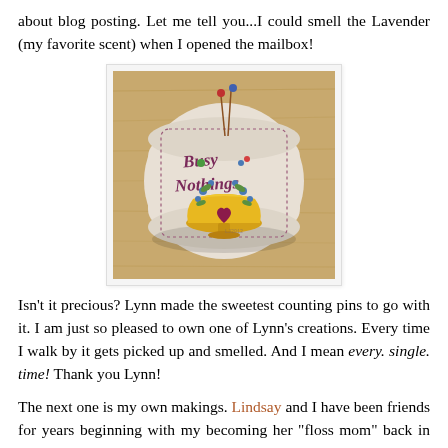about blog posting. Let me tell you...I could smell the Lavender (my favorite scent) when I opened the mailbox!
[Figure (photo): A cross-stitched pin cushion with 'Busy Nothings' text, floral designs, and a heart motif in a decorative bowl, photographed on a wooden surface.]
Isn't it precious? Lynn made the sweetest counting pins to go with it. I am just so pleased to own one of Lynn's creations. Every time I walk by it gets picked up and smelled. And I mean every. single. time! Thank you Lynn!
The next one is my own makings. Lindsay and I have been friends for years beginning with my becoming her "floss mom" back in the